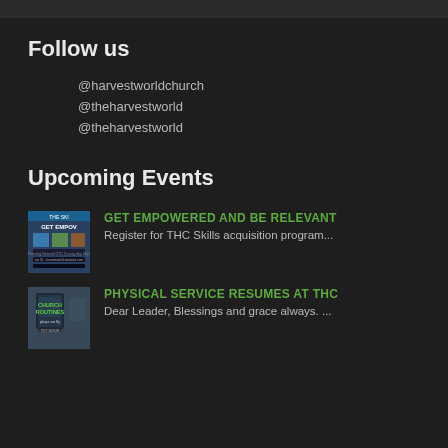Follow us
@harvestworldchurch
@theharvestworld
@theharvestworld
Upcoming Events
[Figure (photo): Event flyer for GET EMPOWERED AND BE RELEVANT - THC Skills acquisition program]
GET EMPOWERED AND BE RELEVANT
Register for THC Skills acquisition program...
[Figure (photo): Event flyer for PHYSICAL SERVICE RESUMES AT THC - Church Routines]
PHYSICAL SERVICE RESUMES AT THC
Dear Leader, Blessings and grace always. ...